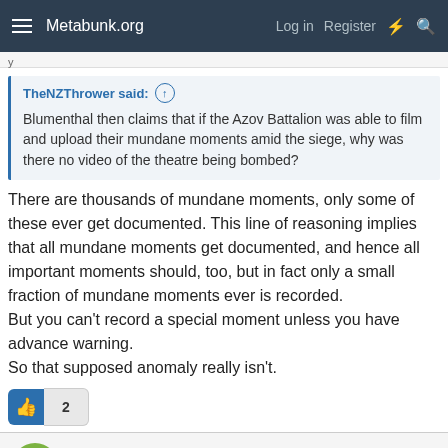Metabunk.org  Log in  Register
TheNZThrower said: ↑
Blumenthal then claims that if the Azov Battalion was able to film and upload their mundane moments amid the siege, why was there no video of the theatre being bombed?
There are thousands of mundane moments, only some of these ever get documented. This line of reasoning implies that all mundane moments get documented, and hence all important moments should, too, but in fact only a small fraction of mundane moments ever is recorded.
But you can't record a special moment unless you have advance warning.
So that supposed anomaly really isn't.
👍 2
TheNZThrower
Active Member